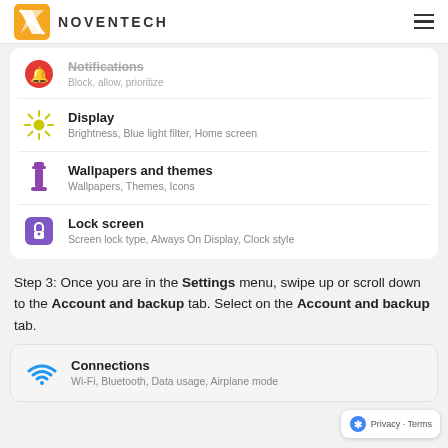NOVENTECH
[Figure (screenshot): Android Settings menu showing Notifications (Block, allow, prioritize), Display (Brightness, Blue light filter, Home screen), Wallpapers and themes (Wallpapers, Themes, Icons), Lock screen (Screen lock type, Always On Display, Clock style)]
Step 3: Once you are in the Settings menu, swipe up or scroll down to the Account and backup tab. Select on the Account and backup tab.
[Figure (screenshot): Android Settings bottom card showing Connections (Wi-Fi, Bluetooth, Data usage, Airplane mode)]